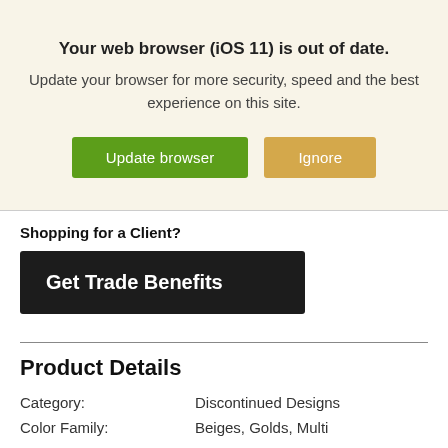Your web browser (iOS 11) is out of date.
Update your browser for more security, speed and the best experience on this site.
[Figure (screenshot): Two buttons: 'Update browser' (green) and 'Ignore' (tan/gold)]
Shopping for a Client?
Get Trade Benefits
Product Details
Category: Discontinued Designs
Color Family: Beiges, Golds, Multi